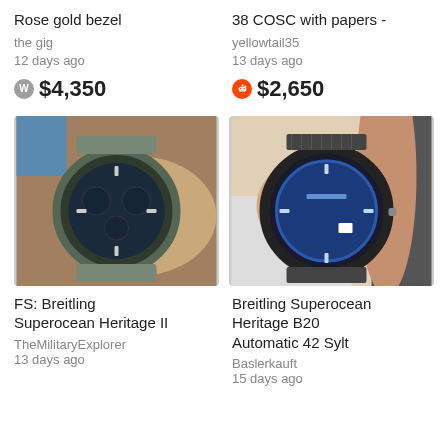Rose gold bezel
the gig
12 days ago
$4,350
38 COSC with papers -
yellowtail35
13 days ago
$2,650
[Figure (photo): Breitling Superocean Heritage II chronograph watch with blue dial and mesh bracelet on a suede watch pillow]
[Figure (photo): Breitling Superocean Heritage B20 Automatic 42 Sylt watch with blue dial and dark mesh bracelet being held in hand]
FS: Breitling Superocean Heritage II
TheMilitaryExplorer
13 days ago
Breitling Superocean Heritage B20 Automatic 42 Sylt
Baslerkauft
15 days ago